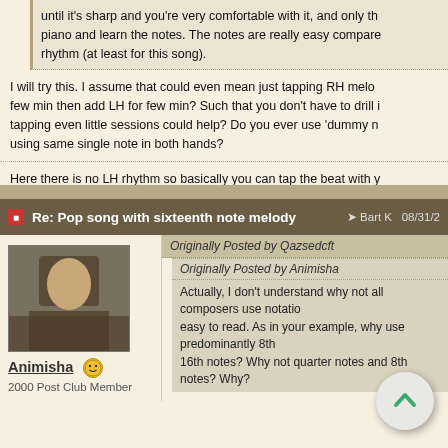until it's sharp and you're very comfortable with it, and only the piano and learn the notes. The notes are really easy compared to rhythm (at least for this song).
I will try this. I assume that could even mean just tapping RH melody for few min then add LH for few min? Such that you don't have to drill it, tapping even little sessions could help? Do you ever use 'dummy notes' using same single note in both hands?
Here there is no LH rhythm so basically you can tap the beat with y... do use dummy notes sometimes, especially to provide the beat. If t... complicated I sometimes just play block chords on each beat while...
Re: Pop song with sixteenth note melody
Bart K  08/31/21
Animisha
2000 Post Club Member
Originally Posted by Qazsedcft
Originally Posted by Animisha
Actually, I don't understand why not all composers use notation easy to read. As in your example, why use predominantly 8th 16th notes? Why not quarter notes and 8th notes? Why?